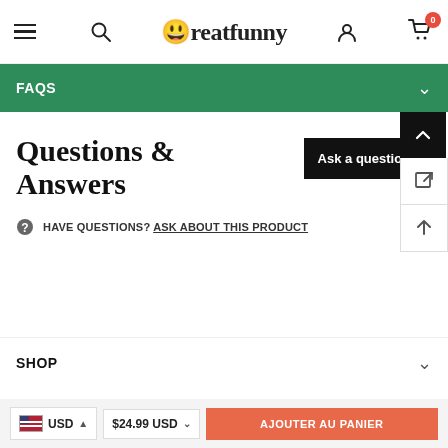Creatfunny — navigation bar with hamburger, search, logo, user icon, cart (0)
FAQS
Questions & Answers
Ask a question?
HAVE QUESTIONS? ASK ABOUT THIS PRODUCT
SHOP
USD ▲ $24.99 USD ▼ | AJOUTER AU PANIER